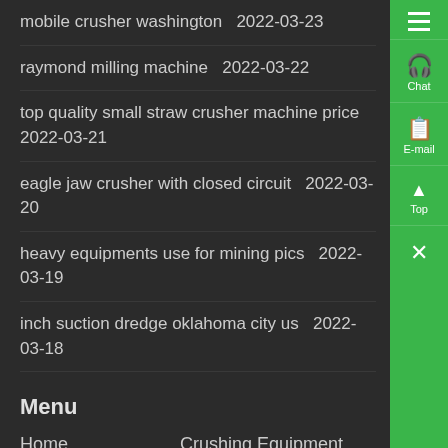mobile crusher washington  2022-03-23
raymond milling machine  2022-03-22
top quality small straw crusher machine price  2022-03-21
eagle jaw crusher with closed circuit  2022-03-20
heavy equipments use for mining pics  2022-03-19
inch suction dredge oklahoma city us  2022-03-18
Menu
Home	Crushing Equipment
Products	Grinding Equipment